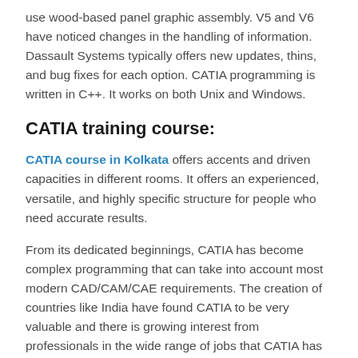use wood-based panel graphic assembly. V5 and V6 have noticed changes in the handling of information. Dassault Systems typically offers new updates, thins, and bug fixes for each option. CATIA programming is written in C++. It works on both Unix and Windows.
CATIA training course:
CATIA course in Kolkata offers accents and driven capacities in different rooms. It offers an experienced, versatile, and highly specific structure for people who need accurate results.
From its dedicated beginnings, CATIA has become complex programming that can take into account most modern CAD/CAM/CAE requirements. The creation of countries like India have found CATIA to be very valuable and there is growing interest from professionals in the wide range of jobs that CATIA has